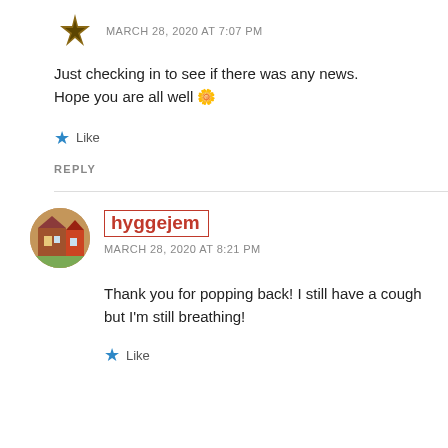MARCH 28, 2020 AT 7:07 PM
Just checking in to see if there was any news. Hope you are all well 🌼
Like
REPLY
hyggejem
MARCH 28, 2020 AT 8:21 PM
Thank you for popping back! I still have a cough but I'm still breathing!
Like